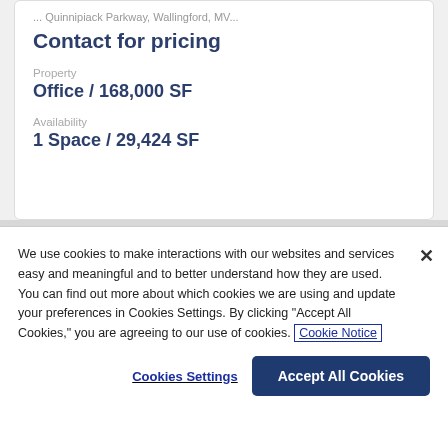... Quinnipiack Parkway, Wallingford, MV...
Contact for pricing
Property
Office /  168,000 SF
Availability
1 Space /  29,424 SF
We use cookies to make interactions with our websites and services easy and meaningful and to better understand how they are used. You can find out more about which cookies we are using and update your preferences in Cookies Settings. By clicking "Accept All Cookies," you are agreeing to our use of cookies. Cookie Notice
Cookies Settings
Accept All Cookies